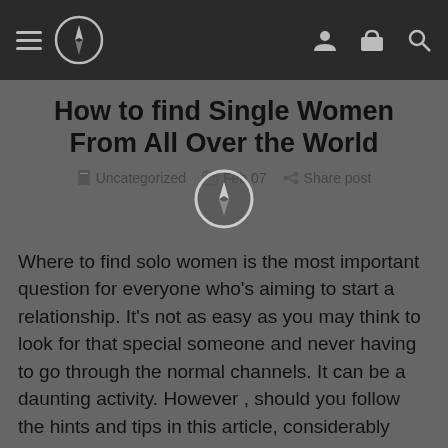[Figure (screenshot): Dark navigation bar with hamburger menu, compass logo icon, and right-side icons for user, basket, and search]
How to find Single Women From All Over the World
Uncategorized   Feb 07   Share post
Where to find solo women is the most important question for everyone who's aiming to start a relationship. It's not as easy as you may think to look for that special someone and never having to go through the normal channels. It can be a daunting activity. However , should you follow the hints and tips in this article, considerably more . much better